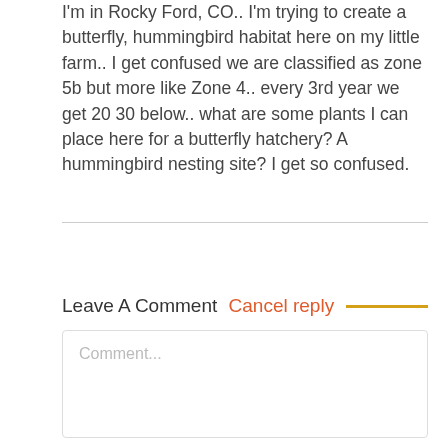I'm in Rocky Ford, CO.. I'm trying to create a butterfly, hummingbird habitat here on my little farm.. I get confused we are classified as zone 5b but more like Zone 4.. every 3rd year we get 20 30 below.. what are some plants I can place here for a butterfly hatchery? A hummingbird nesting site? I get so confused.
Leave A Comment Cancel reply
Comment...